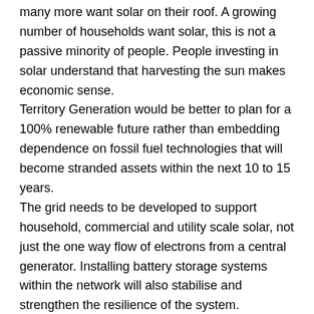many more want solar on their roof. A growing number of households want solar, this is not a passive minority of people. People investing in solar understand that harvesting the sun makes economic sense.
Territory Generation would be better to plan for a 100% renewable future rather than embedding dependence on fossil fuel technologies that will become stranded assets within the next 10 to 15 years.
The grid needs to be developed to support household, commercial and utility scale solar, not just the one way flow of electrons from a central generator. Installing battery storage systems within the network will also stabilise and strengthen the resilience of the system.
Solar is not the reason for blackouts. The